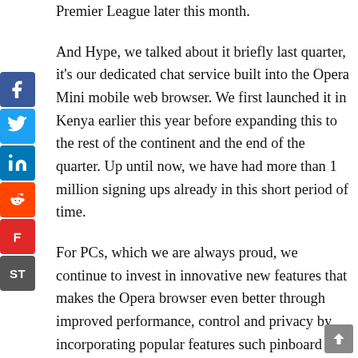Premier League later this month.
And Hype, we talked about it briefly last quarter, it's our dedicated chat service built into the Opera Mini mobile web browser. We first launched it in Kenya earlier this year before expanding this to the rest of the continent and the end of the quarter. Up until now, we have had more than 1 million signing ups already in this short period of time.
For PCs, which we are always proud, we continue to invest in innovative new features that makes the Opera browser even better through improved performance, control and privacy by incorporating popular features such pinboard support, which is a nice feature we just released and also other smart things such as the recent new solution we've added for better managing.